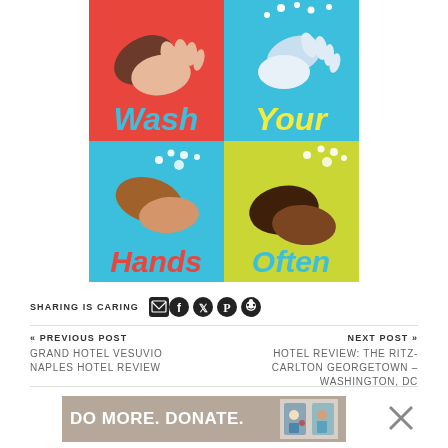[Figure (infographic): Four-panel 'Wash Your Hands Often' infographic. Top-left red panel shows hands being washed with text 'Wash'. Top-right blue panel shows hands with water with text 'Your'. Bottom-left light blue panel shows soapy hands with text 'Hands'. Bottom-right yellow-green panel shows dark hands with bubbles with text 'Often'.]
SHARING IS CARING
« PREVIOUS POST
GRAND HOTEL VESUVIO NAPLES HOTEL REVIEW
NEXT POST »
HOTEL REVIEW: THE RITZ-CARLTON GEORGETOWN – WASHINGTON, DC
DO MORE. DONATE.